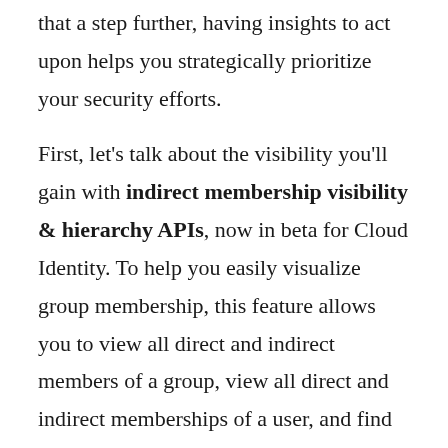that a step further, having insights to act upon helps you strategically prioritize your security efforts.

First, let's talk about the visibility you'll gain with indirect membership visibility & hierarchy APIs, now in beta for Cloud Identity. To help you easily visualize group membership, this feature allows you to view all direct and indirect members of a group, view all direct and indirect memberships of a user, and find paths from a user to a group. In addition, with a new check API, you can identify if an account is a member of a given group or not. You'll get all of the information you need to create visualization of complex group structures and hierarchies. Having this